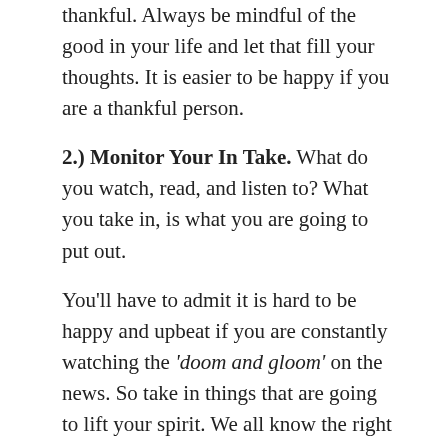thankful. Always be mindful of the good in your life and let that fill your thoughts. It is easier to be happy if you are a thankful person.
2.) Monitor Your In Take. What do you watch, read, and listen to? What you take in, is what you are going to put out.
You’ll have to admit it is hard to be happy and upbeat if you are constantly watching the ‘doom and gloom’ on the news. So take in things that are going to lift your spirit. We all know the right song can put a skip in your step.  A funny movie will put a smile on your face.
3.) Live a Healthy Lifestyle. Your physical health plays a key role in your mental health and personal self-image. There is much taught on diet, exercise, nutrition, sleeping habits, etcetera. These things are all vital to how we feel.